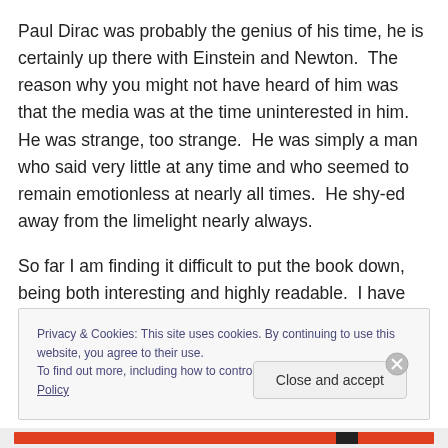Paul Dirac was probably the genius of his time, he is certainly up there with Einstein and Newton.  The reason why you might not have heard of him was that the media was at the time uninterested in him.  He was strange, too strange.  He was simply a man who said very little at any time and who seemed to remain emotionless at nearly all times.  He shy-ed away from the limelight nearly always.
So far I am finding it difficult to put the book down, being both interesting and highly readable.  I have not found a
Privacy & Cookies: This site uses cookies. By continuing to use this website, you agree to their use.
To find out more, including how to control cookies, see here: Cookie Policy